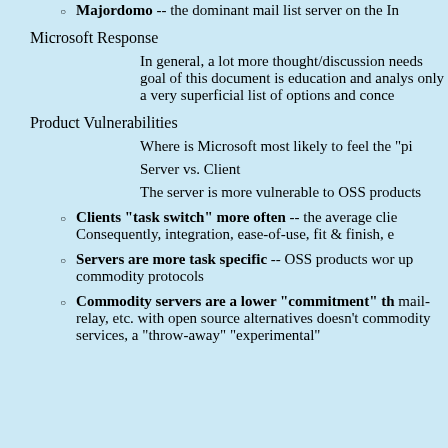Majordomo -- the dominant mail list server on the In
Microsoft Response
In general, a lot more thought/discussion needs goal of this document is education and analys only a very superficial list of options and conce
Product Vulnerabilities
Where is Microsoft most likely to feel the "pi
Server vs. Client
The server is more vulnerable to OSS products
Clients "task switch" more often -- the average clie Consequently, integration, ease-of-use, fit & finish, e
Servers are more task specific -- OSS products wor up commodity protocols
Commodity servers are a lower "commitment" th mail-relay, etc. with open source alternatives doesn't commodity services, a "throw-away" "experimental"